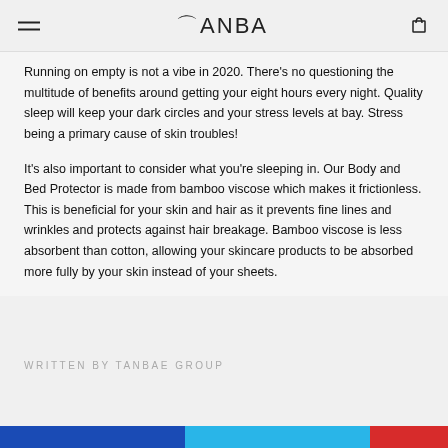TANBAE
Running on empty is not a vibe in 2020. There's no questioning the multitude of benefits around getting your eight hours every night. Quality sleep will keep your dark circles and your stress levels at bay. Stress being a primary cause of skin troubles!
It's also important to consider what you're sleeping in. Our Body and Bed Protector is made from bamboo viscose which makes it frictionless. This is beneficial for your skin and hair as it prevents fine lines and wrinkles and protects against hair breakage. Bamboo viscose is less absorbent than cotton, allowing your skincare products to be absorbed more fully by your skin instead of your sheets.
WRITTEN BY TANBAE GROUP